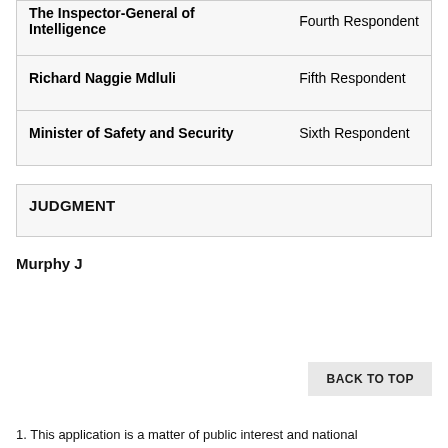| Name | Role |
| --- | --- |
| The Inspector-General of Intelligence | Fourth Respondent |
| Richard Naggie Mdluli | Fifth Respondent |
| Minister of Safety and Security | Sixth Respondent |
JUDGMENT
Murphy J
BACK TO TOP
1. This application is a matter of public interest and national